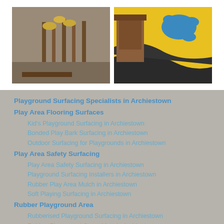[Figure (photo): Left photo: wooden posts and mushroom-shaped wooden features in a bark/gravel surfaced playground area.]
[Figure (photo): Right photo: yellow and dark rubber wetpour playground surface with road/track pattern and blue splash design, with a wooden playhouse structure.]
Playground Surfacing Specialists in Archiestown
Play Area Flooring Surfaces
Kid's Playground Surfacing in Archiestown
Bonded Play Bark Surfacing in Archiestown
Outdoor Surfacing for Playgrounds in Archiestown
Play Area Safety Surfacing
Play Area Safety Surfacing in Archiestown
Playground Surfacing Installers in Archiestown
Rubber Play Area Mulch in Archiestown
Soft Playing Surfacing in Archiestown
Rubber Playground Area
Rubberised Playground Surfacing in Archiestown
Rubber Playground Grass Mats in Archiestown
Wetpour Playground Surfacing in Archiestown
Created by © Play Area Flooring